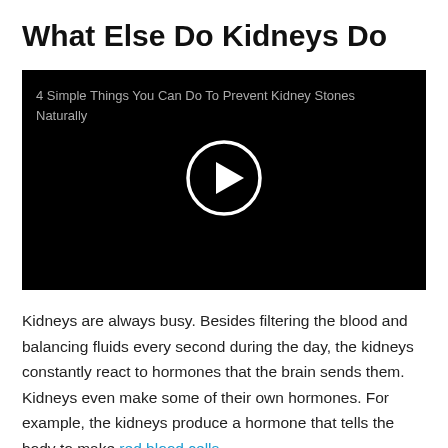What Else Do Kidneys Do
[Figure (screenshot): Video thumbnail with black background showing title '4 Simple Things You Can Do To Prevent Kidney Stones Naturally' and a circular play button in the center]
Kidneys are always busy. Besides filtering the blood and balancing fluids every second during the day, the kidneys constantly react to hormones that the brain sends them. Kidneys even make some of their own hormones. For example, the kidneys produce a hormone that tells the body to make red blood cells